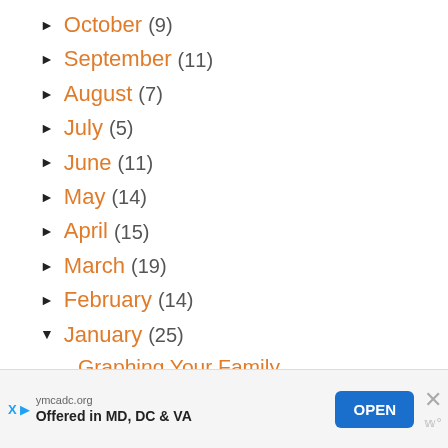► October (9)
► September (11)
► August (7)
► July (5)
► June (11)
► May (14)
► April (15)
► March (19)
► February (14)
▼ January (25)
Graphing Your Family
ymcadc.org Offered in MD, DC & VA OPEN